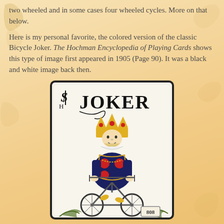two wheeled and in some cases four wheeled cycles. More on that below.
Here is my personal favorite, the colored version of the classic Bicycle Joker. The Hochman Encyclopedia of Playing Cards shows this type of image first appeared in 1905 (Page 90). It was a black and white image back then.
[Figure (photo): A photograph of the classic Bicycle Joker playing card showing a jester/king figure wearing a crown and colorful costume, riding a bicycle. The card shows 'JOKER' text at the top and '808' box at the bottom right.]